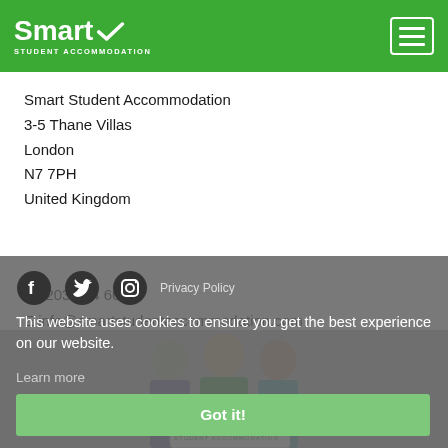Smart Student Accommodation — navigation header with logo and hamburger menu
Smart Student Accommodation
3-5 Thane Villas
London
N7 7PH
United Kingdom
T 0203 034 6000
E info@smartstudentaccommodation.com
[Figure (screenshot): Cookie consent overlay with social media icons (Facebook, Twitter, Instagram), text 'This website uses cookies to ensure you get the best experience on our website.', 'Privacy Policy' link, 'Learn more' link, and a green 'Got it!' button. Background shows students holding a Smart Student Accommodation sign.]